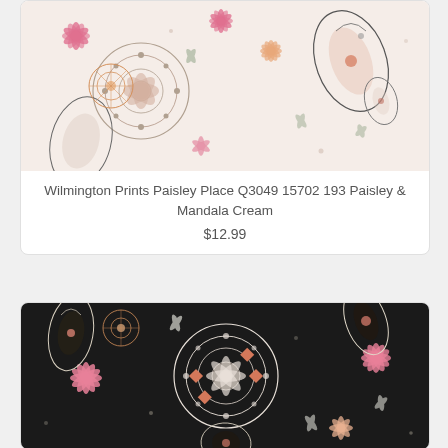[Figure (photo): Cream/white fabric with paisley and mandala floral pattern in pink, peach, and grey tones]
Wilmington Prints Paisley Place Q3049 15702 193 Paisley & Mandala Cream
$12.99
[Figure (photo): Black fabric with paisley and mandala floral pattern in pink, peach, and white tones]